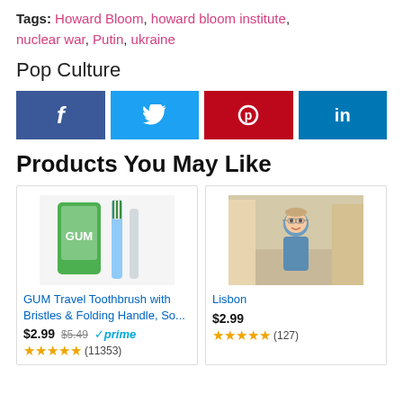Tags: Howard Bloom, howard bloom institute, nuclear war, Putin, ukraine
Pop Culture
[Figure (other): Social media share buttons: Facebook (f), Twitter (bird), Pinterest (p), LinkedIn (in)]
Products You May Like
[Figure (photo): GUM Travel Toothbrush product image with packaging and toothbrush]
GUM Travel Toothbrush with Bristles & Folding Handle, So...
$2.99 $5.49 prime (11353 reviews, 4.5 stars)
[Figure (photo): Photo of a man smiling outdoors on a European street (Lisbon)]
Lisbon
$2.99 (127 reviews, 4.5 stars)